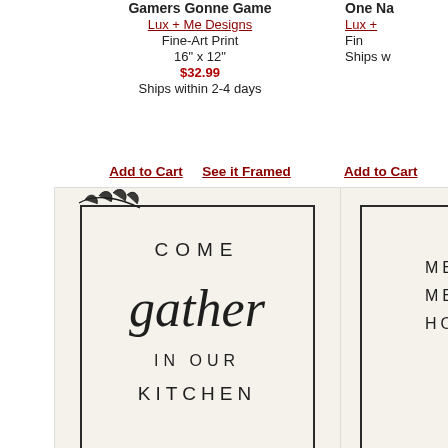Gamers Gonne Game
Lux + Me Designs
Fine-Art Print
16" x 12"
$32.99
Ships within 2-4 days
One Na...
Lux +...
Fine-...
Ships w...
Add to Cart
See it Framed
Add to Cart
[Figure (illustration): Come Gather in Our Kitchen art print with botanical border, farmhouse style text]
[Figure (illustration): Partial view of another art print with botanical border, partially visible text ME, ME, HO...]
Come Gather in Our Kitchen
Lux + Me Designs
Fine-Art Print
12" x 12"
$27.99
Ships within 2-4 days
Meals & Memo...
Lux +...
Fin...
Ships w...
Add to Cart
See it Framed
Add to Cart